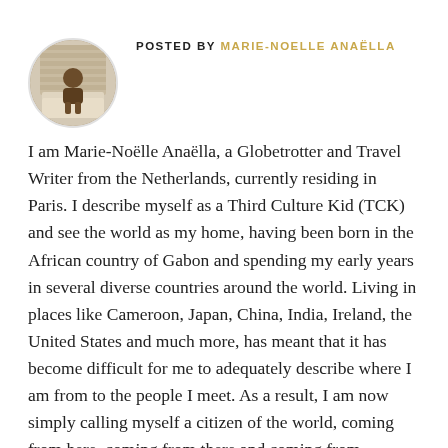[Figure (photo): Circular avatar photo of Marie-Noelle Anaëlla, a woman sitting outdoors]
POSTED BY MARIE-NOELLE ANAËLLA
I am Marie-Noëlle Anaëlla, a Globetrotter and Travel Writer from the Netherlands, currently residing in Paris. I describe myself as a Third Culture Kid (TCK) and see the world as my home, having been born in the African country of Gabon and spending my early years in several diverse countries around the world. Living in places like Cameroon, Japan, China, India, Ireland, the United States and much more, has meant that it has become difficult for me to adequately describe where I am from to the people I meet. As a result, I am now simply calling myself a citizen of the world, coming from here, coming from there and coming from everywhere. Having caught the travel bug at a very young age, I have since made it my life